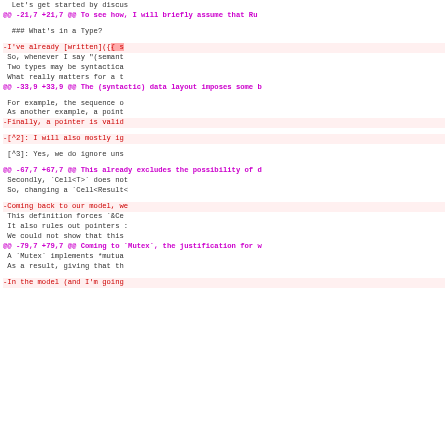Git diff view showing side-by-side comparison of changes to a markdown/code file. Left panel shows removed lines (red), right panel shows added lines (green), with hunk headers in purple/magenta.
@@ -21,7 +21,7 @@ To see how, I will briefly assume that Ru...
### What's in a Type?
-I've already [written]({ s... +I've already [written]({% p...
@@ -33,9 +33,9 @@ The (syntactic) data layout imposes some b...
-Finally, a pointer is valid  +Finally, a pointer is valid
-[^2]: I will also mostly ig... +[^2]: I will also mostly ig...
[^3]: Yes, we do ignore uns...
@@ -67,7 +67,7 @@ This already excludes the possibility of d...
@@ -79,7 +79,7 @@ Coming to `Mutex`, the justification for w...